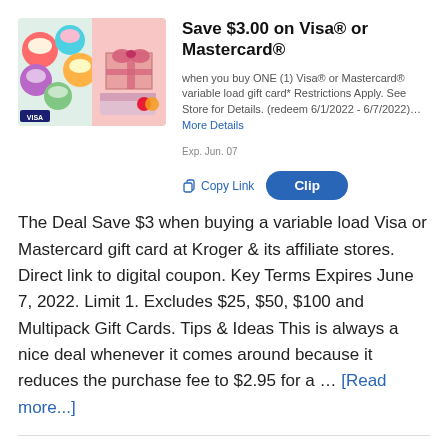[Figure (photo): Product image showing colorful cupcakes on the left and Visa/Mastercard gift cards on a pink background on the right]
Save $3.00 on Visa® or Mastercard®
when you buy ONE (1) Visa® or Mastercard® variable load gift card* Restrictions Apply. See Store for Details. (redeem 6/1/2022 - 6/7/2022)…More Details
Exp. Jun. 07
The Deal Save $3 when buying a variable load Visa or Mastercard gift card at Kroger & its affiliate stores. Direct link to digital coupon. Key Terms Expires June 7, 2022. Limit 1. Excludes $25, $50, $100 and Multipack Gift Cards. Tips & Ideas This is always a nice deal whenever it comes around because it reduces the purchase fee to $2.95 for a … [Read more...]